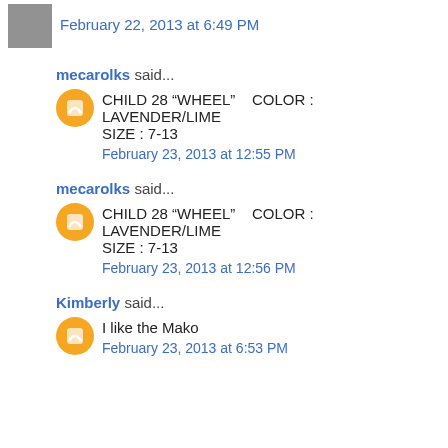February 22, 2013 at 6:49 PM
mecarolks said...
CHILD 28 “WHEEL”    COLOR : LAVENDER / LIME SIZE : 7-13
February 23, 2013 at 12:55 PM
mecarolks said...
CHILD 28 “WHEEL”    COLOR : LAVENDER / LIME SIZE : 7-13
February 23, 2013 at 12:56 PM
Kimberly said...
I like the Mako
February 23, 2013 at 6:53 PM